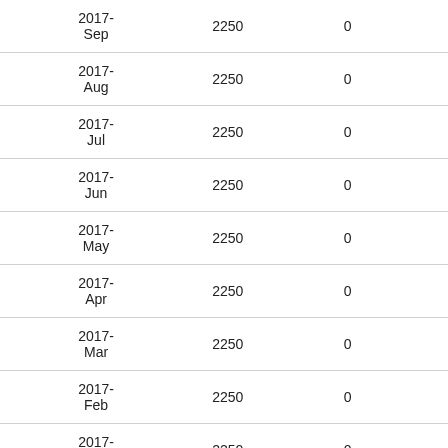| 2017-Sep | 2250 | 0 |
| 2017-Aug | 2250 | 0 |
| 2017-Jul | 2250 | 0 |
| 2017-Jun | 2250 | 0 |
| 2017-May | 2250 | 0 |
| 2017-Apr | 2250 | 0 |
| 2017-Mar | 2250 | 0 |
| 2017-Feb | 2250 | 0 |
| 2017-Jan | 2250 | 0 |
| 2016-Dec | 2250 | 0 |
| 2016-Nov | 2250 | 0 |
| 2016-Oct | 2250 | 0 |